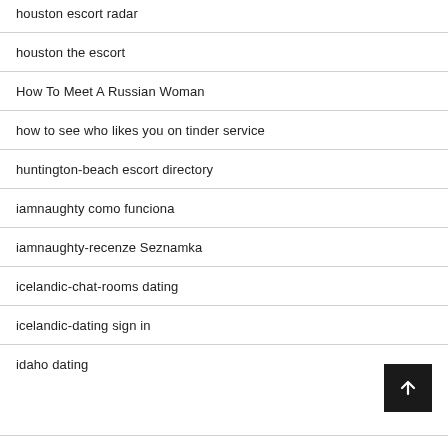houston escort radar
houston the escort
How To Meet A Russian Woman
how to see who likes you on tinder service
huntington-beach escort directory
iamnaughty como funciona
iamnaughty-recenze Seznamka
icelandic-chat-rooms dating
icelandic-dating sign in
idaho dating
IfNotYouNobody visitors